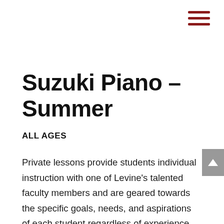Suzuki Piano – Summer
ALL AGES
Private lessons provide students individual instruction with one of Levine's talented faculty members and are geared towards the specific goals, needs, and aspirations of each student regardless of experience or age. For new students, we take the time and care to arrange